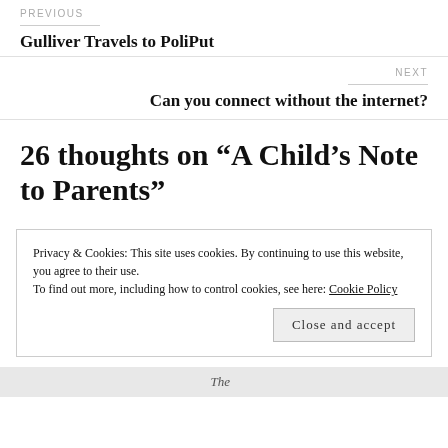PREVIOUS
Gulliver Travels to PoliPut
NEXT
Can you connect without the internet?
26 thoughts on “A Child’s Note to Parents”
Privacy & Cookies: This site uses cookies. By continuing to use this website, you agree to their use.
To find out more, including how to control cookies, see here: Cookie Policy
Close and accept